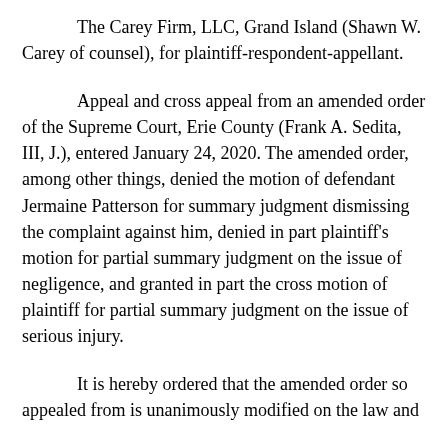The Carey Firm, LLC, Grand Island (Shawn W. Carey of counsel), for plaintiff-respondent-appellant.
Appeal and cross appeal from an amended order of the Supreme Court, Erie County (Frank A. Sedita, III, J.), entered January 24, 2020. The amended order, among other things, denied the motion of defendant Jermaine Patterson for summary judgment dismissing the complaint against him, denied in part plaintiff's motion for partial summary judgment on the issue of negligence, and granted in part the cross motion of plaintiff for partial summary judgment on the issue of serious injury.
It is hereby ordered that the amended order so appealed from is unanimously modified on the law and